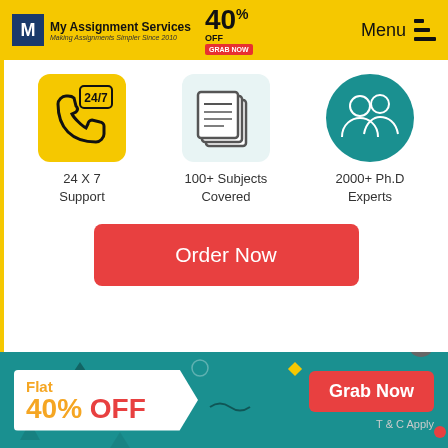[Figure (screenshot): My Assignment Services website header with yellow background, logo, 40% OFF discount badge, and Menu button]
[Figure (infographic): Three service icons: 24/7 phone support (yellow background), 100+ Subjects Covered (newspaper icon), 2000+ Ph.D Experts (group of professionals on teal background)]
24 X 7 Support
100+ Subjects Covered
2000+ Ph.D Experts
Order Now
Would I be able to know the Advancement of my
Flat 40% OFF
Grab Now
T & C Apply